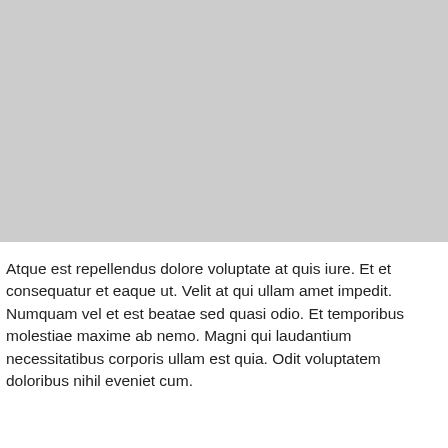[Figure (other): A large light gray rectangular placeholder image occupying the top portion of the page.]
Atque est repellendus dolore voluptate at quis iure. Et et consequatur et eaque ut. Velit at qui ullam amet impedit. Numquam vel et est beatae sed quasi odio. Et temporibus molestiae maxime ab nemo. Magni qui laudantium necessitatibus corporis ullam est quia. Odit voluptatem doloribus nihil eveniet cum.